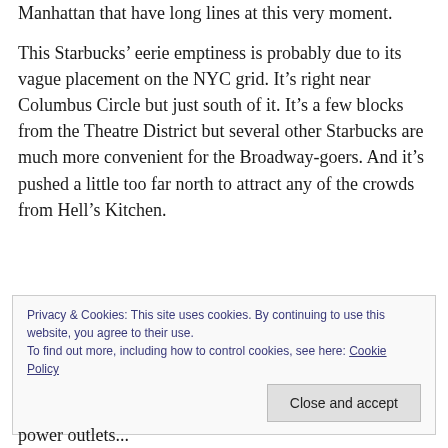Manhattan that have long lines at this very moment.
This Starbucks' eerie emptiness is probably due to its vague placement on the NYC grid. It's right near Columbus Circle but just south of it. It's a few blocks from the Theatre District but several other Starbucks are much more convenient for the Broadway-goers. And it's pushed a little too far north to attract any of the crowds from Hell's Kitchen.
Privacy & Cookies: This site uses cookies. By continuing to use this website, you agree to their use.
To find out more, including how to control cookies, see here: Cookie Policy
power outlets...